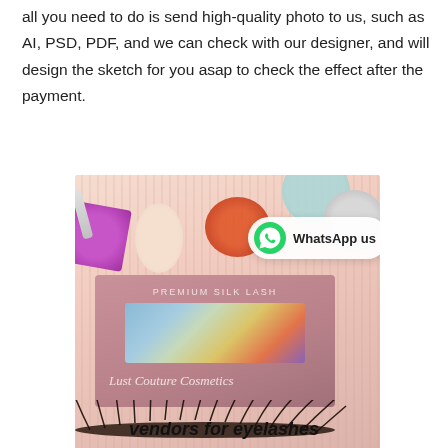all you need to do is send high-quality photo to us, such as AI, PSD, PDF, and we can check with our designer, and will design the sketch for you asap to check the effect after the payment.
[Figure (photo): Product photo of a premium silk lash box labeled 'PREMIUM SILK LASH' with holographic window and script branding 'Lust Couture Cosmetics', displayed with false eyelashes in front, surrounded by decorative items including a purple gift box, orange gem, teal ball, silver glitter ball, and an egg-shaped ornament on a pink striped background. A WhatsApp badge overlay reads 'WhatsApp us'.]
vendors for eyelashes